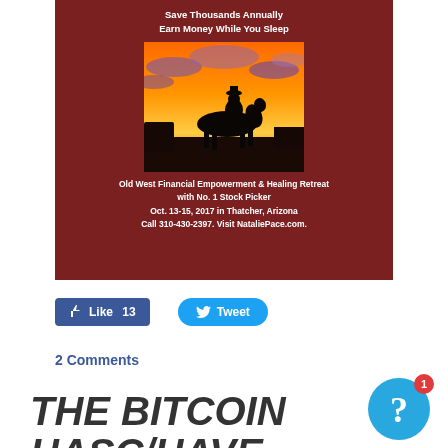[Figure (illustration): Promotional advertisement with dark red background showing a cowboy on horseback silhouetted against an orange and red sunset sky. Text overlay reads: Save Thousands Annually / Earn Money While You Sleep / Old West Financial Empowerment & Healing Retreat / with No. 1 Stock Picker / Oct. 13-15, 2017 in Thatcher, Arizona / Call 310-430-2397. Visit NataliePace.com.]
Like 13
Tweet
2 Comments
THE BITCOIN HASCHIAVE